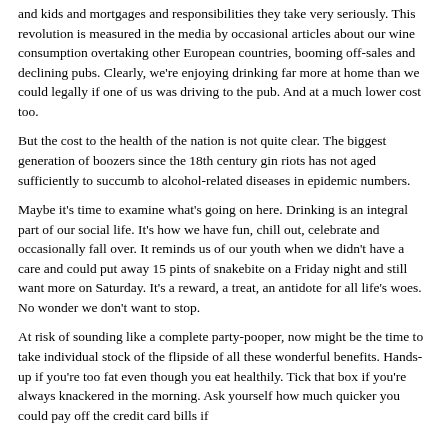and kids and mortgages and responsibilities they take very seriously. This revolution is measured in the media by occasional articles about our wine consumption overtaking other European countries, booming off-sales and declining pubs. Clearly, we're enjoying drinking far more at home than we could legally if one of us was driving to the pub. And at a much lower cost too.
But the cost to the health of the nation is not quite clear. The biggest generation of boozers since the 18th century gin riots has not aged sufficiently to succumb to alcohol-related diseases in epidemic numbers.
Maybe it's time to examine what's going on here. Drinking is an integral part of our social life. It's how we have fun, chill out, celebrate and occasionally fall over. It reminds us of our youth when we didn't have a care and could put away 15 pints of snakebite on a Friday night and still want more on Saturday. It's a reward, a treat, an antidote for all life's woes. No wonder we don't want to stop.
At risk of sounding like a complete party-pooper, now might be the time to take individual stock of the flipside of all these wonderful benefits. Hands-up if you're too fat even though you eat healthily. Tick that box if you're always knackered in the morning. Ask yourself how much quicker you could pay off the credit card bills if you stopped drinking. Ask how often you...